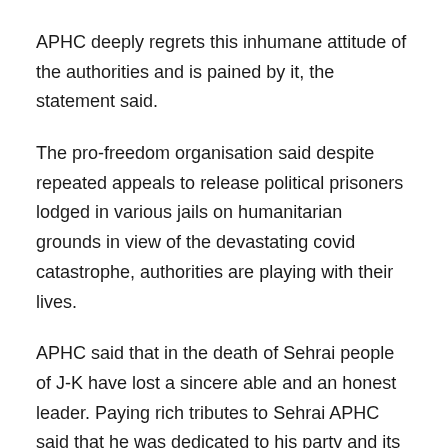APHC deeply regrets this inhumane attitude of the authorities and is pained by it, the statement said.
The pro-freedom organisation said despite repeated appeals to release political prisoners lodged in various jails on humanitarian grounds in view of the devastating covid catastrophe, authorities are playing with their lives.
APHC said that in the death of Sehrai people of J-K have lost a sincere able and an honest leader. Paying rich tributes to Sehrai APHC said that he was dedicated to his party and its ideology and worked tirelessly and selflessly for the people's movement, suffering lockup's and jails in the course of his life .